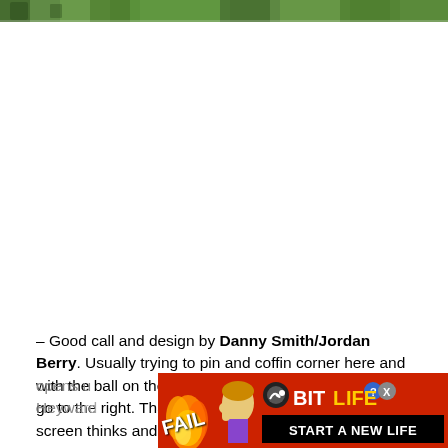[Figure (photo): Partial photo strip at top of page showing a green sports field with players, partially visible]
– Good call and design by Danny Smith/Jordan Berry. Usually trying to pin and coffin corner here and with the ball on the right hash, you'd expect the ball to go to the right. That's what the jammer at the top of the screen thinks and opens u[p...] Heywa[rd...] orce a
[Figure (screenshot): BitLife advertisement banner with FAIL text, cartoon girl, flames, BitLife logo, and START A NEW LIFE text on black background]